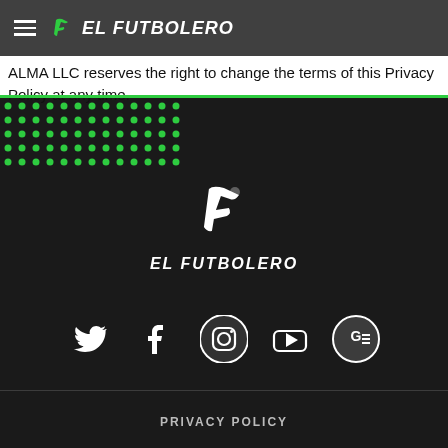EL FUTBOLERO
ALMA LLC reserves the right to change the terms of this Privacy Policy at any time.
[Figure (logo): El Futbolero logo white on dark background with stylized F icon]
[Figure (infographic): Social media icons row: Twitter, Facebook, Instagram, YouTube, Google News]
PRIVACY POLICY
STAFF